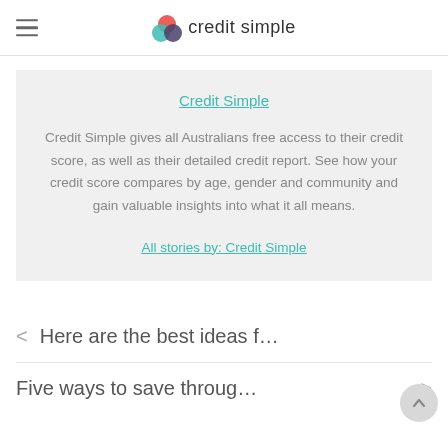credit simple
Credit Simple
Credit Simple gives all Australians free access to their credit score, as well as their detailed credit report. See how your credit score compares by age, gender and community and gain valuable insights into what it all means.
All stories by: Credit Simple
< Here are the best ideas f…
Five ways to save throug… >